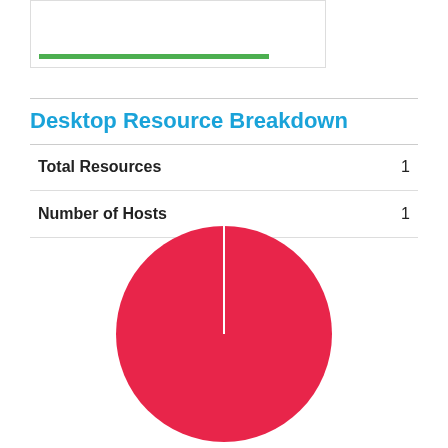[Figure (other): Partial card with green progress bar at top of page]
Desktop Resource Breakdown
|  |  |
| --- | --- |
| Total Resources | 1 |
| Number of Hosts | 1 |
[Figure (pie-chart): Desktop Resource Breakdown]